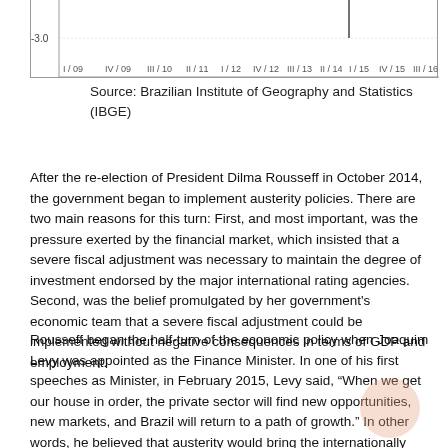[Figure (continuous-plot): Bottom portion of a line chart showing GDP or economic indicator data from I/09 to III/16, with x-axis labels visible and a -3.0 y-axis label. A vertical line is visible near I/15.]
Source: Brazilian Institute of Geography and Statistics (IBGE)
After the re-election of President Dilma Rousseff in October 2014, the government began to implement austerity policies. There are two main reasons for this turn: First, and most important, was the pressure exerted by the financial market, which insisted that a severe fiscal adjustment was necessary to maintain the degree of investment endorsed by the major international rating agencies. Second, was the belief promulgated by her government's economic team that a severe fiscal adjustment could be implemented without negative consequences in terms of GDP and employment.
Rousseff began the half-turn of the economic policy when Joaquim Levy was appointed as the Finance Minister. In one of his first speeches as Minister, in February 2015, Levy said, “When we get our house in order, the private sector will find new opportunities, new markets, and Brazil will return to a path of growth.” In other words, he believed that austerity would bring the internationally renowned “confidence fairy” to